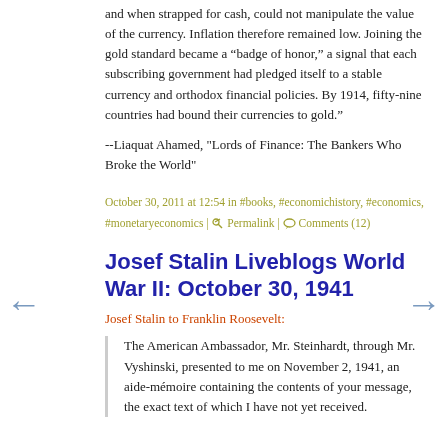and when strapped for cash, could not manipulate the value of the currency. Inflation therefore remained low. Joining the gold standard became a “badge of honor,” a signal that each subscribing government had pledged itself to a stable currency and orthodox financial policies. By 1914, fifty-nine countries had bound their currencies to gold."
--Liaquat Ahamed, "Lords of Finance: The Bankers Who Broke the World"
October 30, 2011 at 12:54 in #books, #economichistory, #economics, #monetaryeconomics | Permalink | Comments (12)
Josef Stalin Liveblogs World War II: October 30, 1941
Josef Stalin to Franklin Roosevelt:
The American Ambassador, Mr. Steinhardt, through Mr. Vyshinski, presented to me on November 2, 1941, an aide-mémoire containing the contents of your message, the exact text of which I have not yet received.